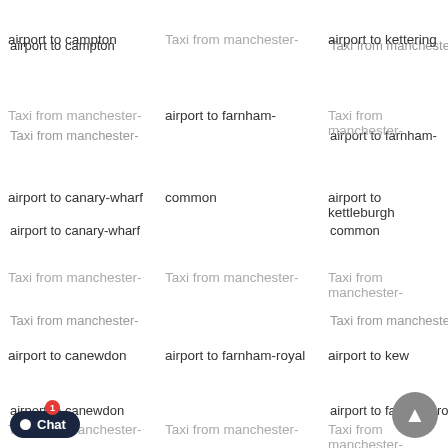airport to campton
Taxi from manchester-
airport to kettering
Taxi from manchester-
airport to farnham-
Taxi from manchester-
airport to canary-wharf
common
airport to kettleburgh
Taxi from manchester-
Taxi from manchester-
Taxi from manchester-
airport to canewdon
airport to farnham-royal
airport to kew
Taxi from manchester-
Taxi from manchester-
Taxi from manchester-
airpo... wn
airport to farnham
airport to keysoe
Taxi ...
Taxi from manchester-
Taxi from manchester-
airpo...
airport to farringdon
airport to keysoen
Taxi ...
Taxi from manchester-
Taxi from manchester-
... canonbury
airport to farthingstone
airport to keyston...